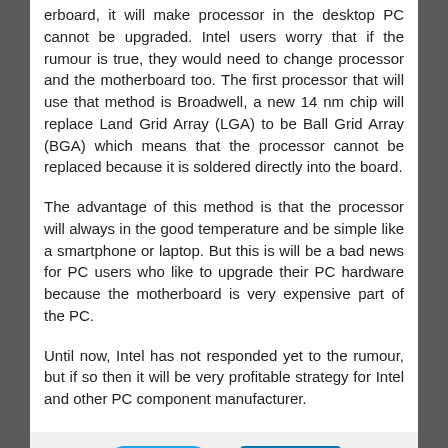erboard, it will make processor in the desktop PC cannot be upgraded. Intel users worry that if the rumour is true, they would need to change processor and the motherboard too. The first processor that will use that method is Broadwell, a new 14 nm chip will replace Land Grid Array (LGA) to be Ball Grid Array (BGA) which means that the processor cannot be replaced because it is soldered directly into the board.
The advantage of this method is that the processor will always in the good temperature and be simple like a smartphone or laptop. But this is will be a bad news for PC users who like to upgrade their PC hardware because the motherboard is very expensive part of the PC.
Until now, Intel has not responded yet to the rumour, but if so then it will be very profitable strategy for Intel and other PC component manufacturer.
[Figure (other): Social sharing buttons: Tweet (Twitter) and Share (LinkedIn)]